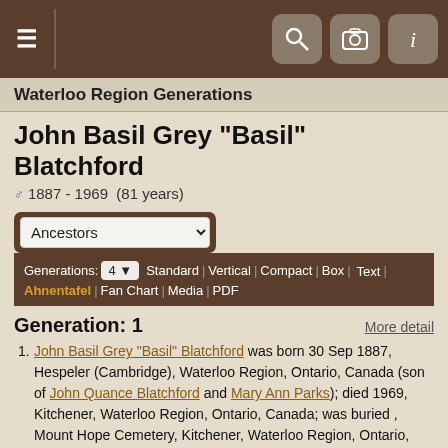Waterloo Region Generations
John Basil Grey "Basil" Blatchford
♂ 1887 - 1969  (81 years)
Ancestors dropdown, Generations: 4, Standard | Vertical | Compact | Box | Text | Ahnentafel | Fan Chart | Media | PDF
Generation: 1
More detail
John Basil Grey "Basil" Blatchford was born 30 Sep 1887, Hespeler (Cambridge), Waterloo Region, Ontario, Canada (son of John Quance Blatchford and Mary Ann Parks); died 1969, Kitchener, Waterloo Region, Ontario, Canada; was buried , Mount Hope Cemetery, Kitchener, Waterloo Region, Ontario, Canada.
John married Wilhelmina Elizabeth "Minnie" Schuster 29 Jan 1821, Stratford, Perth Co., Ontario, Canada. Wilhelmina